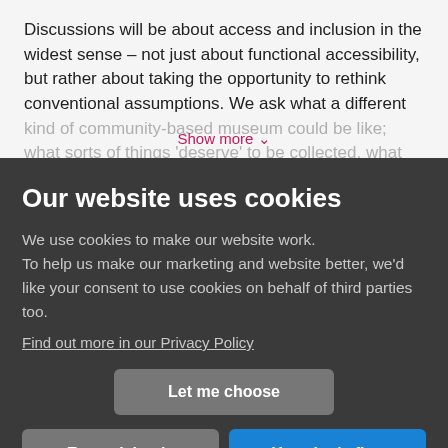Discussions will be about access and inclusion in the widest sense – not just about functional accessibility, but rather about taking the opportunity to rethink conventional assumptions.  We ask what a different kind of community-based museum could be like; what sorts of things 'deserve' to be collected, what kinds of
Show more ˅
Our website uses cookies
We use cookies to make our website work. To help us make our marketing and website better, we'd like your consent to use cookies on behalf of third parties too.
Find out more in our Privacy Policy
Let me choose
Essential only
Yes, that's fine